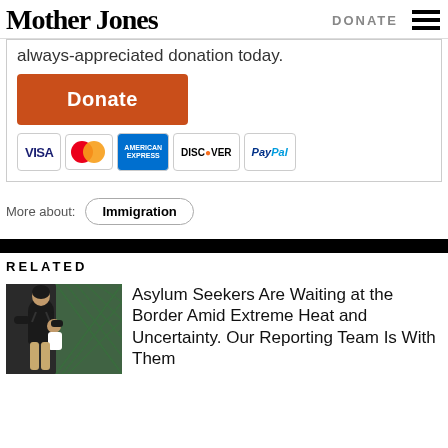Mother Jones | DONATE
always-appreciated donation today.
[Figure (other): Orange Donate button followed by payment icons: VISA, MasterCard, American Express, Discover, PayPal]
More about: Immigration
RELATED
[Figure (photo): Person in black top carrying child, standing at green chain-link fence at border]
Asylum Seekers Are Waiting at the Border Amid Extreme Heat and Uncertainty. Our Reporting Team Is With Them